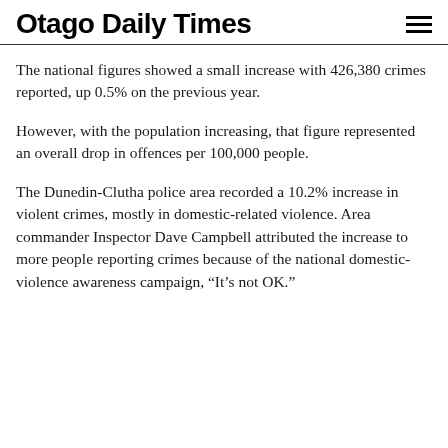Otago Daily Times
The national figures showed a small increase with 426,380 crimes reported, up 0.5% on the previous year.
However, with the population increasing, that figure represented an overall drop in offences per 100,000 people.
The Dunedin-Clutha police area recorded a 10.2% increase in violent crimes, mostly in domestic-related violence. Area commander Inspector Dave Campbell attributed the increase to more people reporting crimes because of the national domestic-violence awareness campaign, "It's not OK."